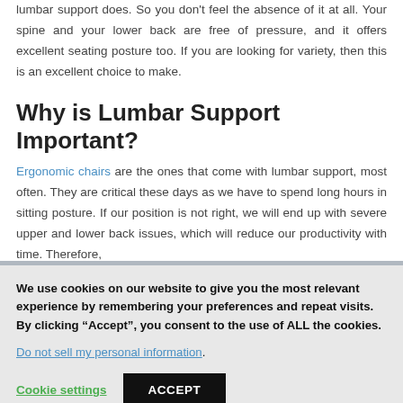lumbar support does. So you don't feel the absence of it at all. Your spine and your lower back are free of pressure, and it offers excellent seating posture too. If you are looking for variety, then this is an excellent choice to make.
Why is Lumbar Support Important?
Ergonomic chairs are the ones that come with lumbar support, most often. They are critical these days as we have to spend long hours in sitting posture. If our position is not right, we will end up with severe upper and lower back issues, which will reduce our productivity with time. Therefore,
We use cookies on our website to give you the most relevant experience by remembering your preferences and repeat visits. By clicking “Accept”, you consent to the use of ALL the cookies.
Do not sell my personal information.
Cookie settings
ACCEPT